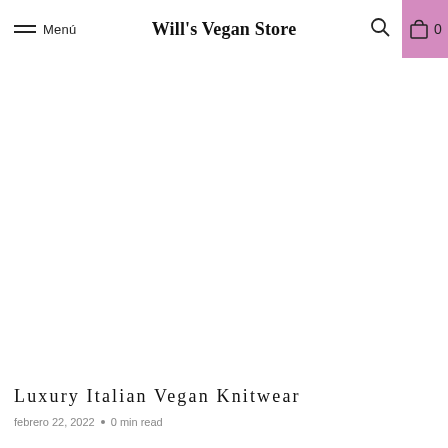Menú  Will's Vegan Store  0
[Figure (photo): Large image area for Luxury Italian Vegan Knitwear article (image not loaded/blank)]
Luxury Italian Vegan Knitwear
febrero 22, 2022  •  0 min read